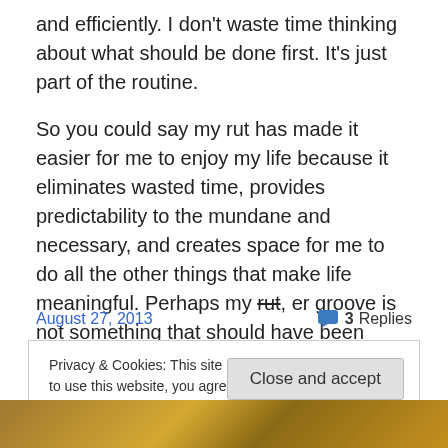and efficiently. I don't waste time thinking about what should be done first. It's just part of the routine.
So you could say my rut has made it easier for me to enjoy my life because it eliminates wasted time, provides predictability to the mundane and necessary, and creates space for me to do all the other things that make life meaningful. Perhaps my rut, er groove is not something that should have been avoided after all.
August 27, 2013
3 Replies
Privacy & Cookies: This site uses cookies. By continuing to use this website, you agree to their use.
To find out more, including how to control cookies, see here: Cookie Policy
Close and accept
[Figure (photo): Bottom portion of image showing a gold/brass object on a wooden surface]